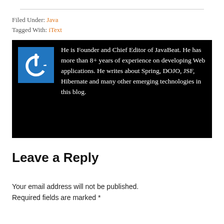Filed Under: Java
Tagged With: iText
[Figure (other): Black bio box with blue power-button logo icon on left and white text: He is Founder and Chief Editor of JavaBeat. He has more than 8+ years of experience on developing Web applications. He writes about Spring, DOJO, JSF, Hibernate and many other emerging technologies in this blog.]
Leave a Reply
Your email address will not be published. Required fields are marked *